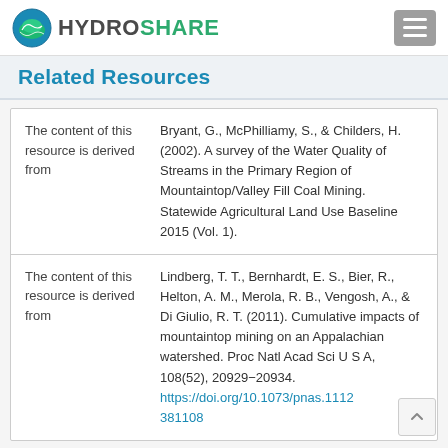HydroShare
Related Resources
| Relationship | Reference |
| --- | --- |
| The content of this resource is derived from | Bryant, G., McPhilliamy, S., & Childers, H. (2002). A survey of the Water Quality of Streams in the Primary Region of Mountaintop/Valley Fill Coal Mining. Statewide Agricultural Land Use Baseline 2015 (Vol. 1). |
| The content of this resource is derived from | Lindberg, T. T., Bernhardt, E. S., Bier, R., Helton, A. M., Merola, R. B., Vengosh, A., & Di Giulio, R. T. (2011). Cumulative impacts of mountaintop mining on an Appalachian watershed. Proc Natl Acad Sci U S A, 108(52), 20929-20934. https://doi.org/10.1073/pnas.1112381108 |